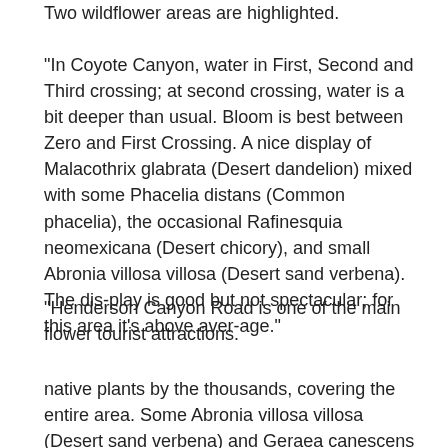Two wildflower areas are highlighted.
"In Coyote Canyon, water in First, Second and Third crossing; at second crossing, water is a bit deeper than usual. Bloom is best between Zero and First Crossing. A nice display of Malacothrix glabrata (Desert dandelion) mixed with some Phacelia distans (Common phacelia), the occasional Rafinesquia neomexicana (Desert chicory), and small Abronia villosa villosa (Desert sand verbena). The dis-play is good but not spectacular; for this area it's above aver-age."
"Henderson Canyon Road is one of the main flower tourist attractions.
native plants by the thousands, covering the entire area. Some Abronia villosa villosa (Desert sand verbena) and Geraea canescens (Desert sun-flower)."